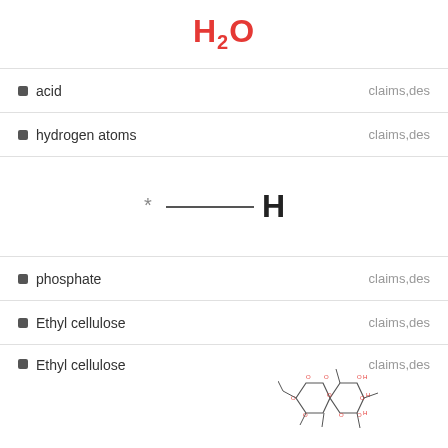[Figure (illustration): H2O chemical formula in red at top of page]
acid   claims,des
hydrogen atoms   claims,des
[Figure (schematic): Chemical structure diagram showing *—H bond notation]
phosphate   claims,des
Ethyl cellulose   claims,des
Ethyl cellulose   claims,des
[Figure (schematic): Ethyl cellulose molecular structure diagram with red oxygen labels and ethyl groups]
Melamine resin   claims,des
Melamine resin   claims,des